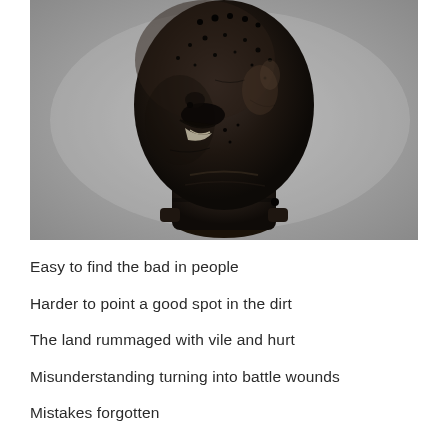[Figure (photo): A dark, weathered ceramic or stone sculptural head/bust facing slightly to the left, with textured surface showing age marks, holes, and rough features. The object appears to be an ancient African or pre-Columbian artifact. The background is a neutral gray.]
Easy to find the bad in people
Harder to point a good spot in the dirt
The land rummaged with vile and hurt
Misunderstanding turning into battle wounds
Mistakes forgotten